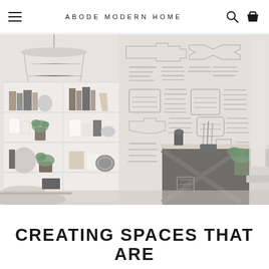ABODE MODERN HOME
[Figure (photo): Interior design photo showing a modern home store/room with a wicker pendant lamp, white shelving unit with decorative items and books, a bold black-and-white geometric patterned wallpaper, a dark console table, plants, and a partial view of a seating area. The image has a light/faded quality.]
CREATING SPACES THAT ARE